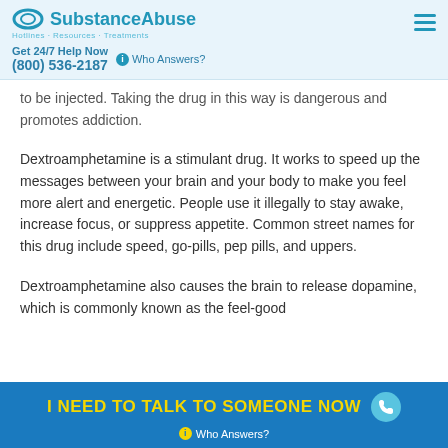SubstanceAbuse | Get 24/7 Help Now (800) 536-2187 | Who Answers?
to be injected. Taking the drug in this way is dangerous and promotes addiction.
Dextroamphetamine is a stimulant drug. It works to speed up the messages between your brain and your body to make you feel more alert and energetic. People use it illegally to stay awake, increase focus, or suppress appetite. Common street names for this drug include speed, go-pills, pep pills, and uppers.
Dextroamphetamine also causes the brain to release dopamine, which is commonly known as the feel-good
I NEED TO TALK TO SOMEONE NOW | Who Answers?